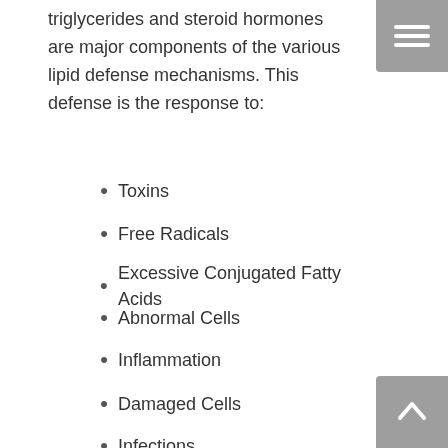triglycerides and steroid hormones are major components of the various lipid defense mechanisms. This defense is the response to:
Toxins
Free Radicals
Excessive Conjugated Fatty Acids
Abnormal Cells
Inflammation
Damaged Cells
Infections
Cancer
The defense of certain lipids is a mechanism by which the body attempts to stop inflammation and disease processes, illness, allergies, infections and pathogens. Think of how corticosteroids down regulate immune function through their anti-inflammatory effects.